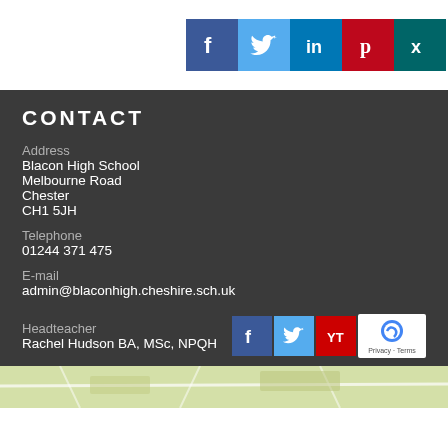[Figure (other): Social media icons row at top: Facebook (blue), Twitter (light blue), LinkedIn (dark blue), Pinterest (red), XING (teal)]
CONTACT
Address
Blacon High School
Melbourne Road
Chester
CH1 5JH
Telephone
01244 371 475
E-mail
admin@blaconhigh.cheshire.sch.uk
Headteacher
Rachel Hudson BA, MSc, NPQH
[Figure (other): Social media icons (Facebook, Twitter, YouTube) and reCAPTCHA widget in bottom bar]
[Figure (map): Street map strip at the bottom of the page]